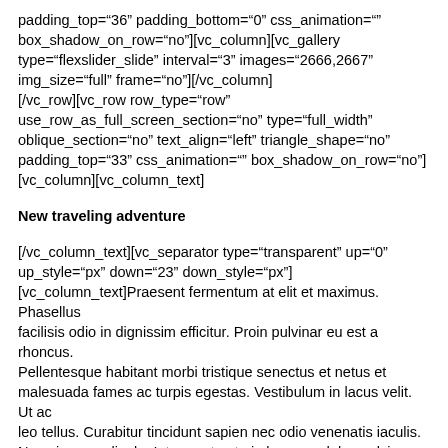padding_top="36" padding_bottom="0" css_animation="" box_shadow_on_row="no"][vc_column][vc_gallery type="flexslider_slide" interval="3" images="2666,2667" img_size="full" onclick="link_no" frame="no"][/vc_column][/vc_row][vc_row row_type="row" use_row_as_full_screen_section="no" type="full_width" oblique_section="no" text_align="left" triangle_shape="no" padding_top="33" css_animation="" box_shadow_on_row="no"][vc_column][vc_column_text]
New traveling adventure
[/vc_column_text][vc_separator type="transparent" up="0" up_style="px" down="23" down_style="px"][vc_column_text]Praesent fermentum at elit et maximus. Phasellus facilisis odio in dignissim efficitur. Proin pulvinar eu est a rhoncus. Pellentesque habitant morbi tristique senectus et netus et malesuada fames ac turpis egestas. Vestibulum in lacus velit. Ut ac leo tellus. Curabitur tincidunt sapien nec odio venenatis iaculis. Nunc in purus ligula. Integer at ante in lorem sodales pulvinar. Aenean pellentesque orci nunc, dictum porta dui vulputate eu. Vivamus molestie nec nisi eget pharetra. Ut suscipit euismod urna, nec scelerisque libero dignissim ac. Proin in congue ligula, id condimentum nisl. Nunc hendrerit bibendum lectus, at ornare massa lacinia non [/vc_column_text][vc_separator